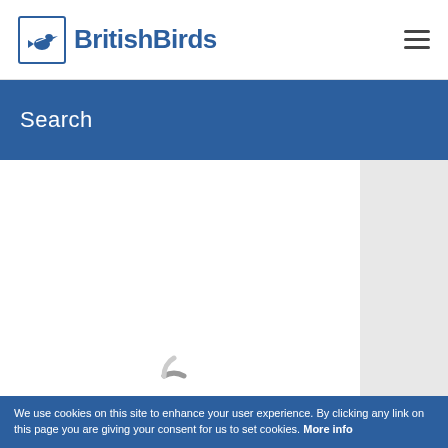BritishBirds
Search
[Figure (other): Loading spinner (partial arc) indicating page content is loading, positioned at bottom center of main content area]
We use cookies on this site to enhance your user experience. By clicking any link on this page you are giving your consent for us to set cookies. More info